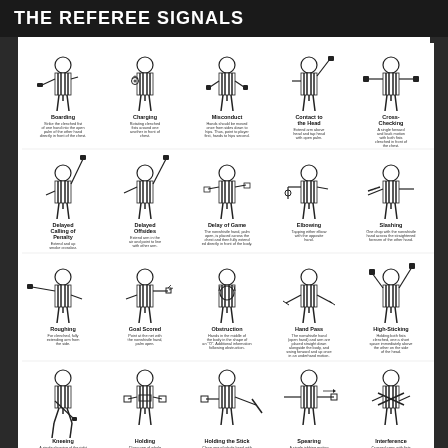THE REFEREE SIGNALS
[Figure (infographic): Grid of hockey referee signals showing illustrated referees demonstrating various penalty and game signals. Row 1: Boarding, Charging, Misconduct, Contact to the Head, Cross-Checking. Row 2: Delayed Calling of Penalty, Delayed Offsides, Delay of Game, Elbowing, Slashing. Row 3: Roughing, Goal Scored, Obstruction, Hand Pass, High-Sticking. Row 4: Kneeing, Holding, Holding the Stick, Spearing, Interference. Row 5 (partial): additional signals cut off at bottom.]